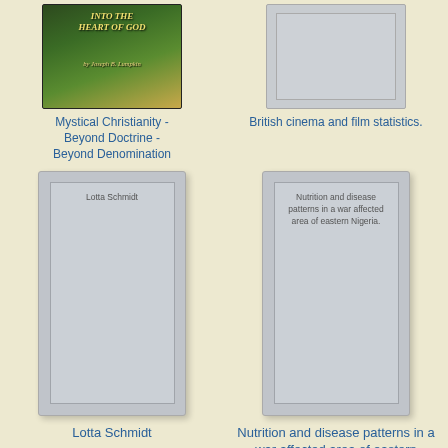[Figure (illustration): Book cover for 'Mystical Christianity - Beyond Doctrine - Beyond Denomination' by Joseph B. Lumpkin, showing an ancient manuscript-like image with green and gold tones]
[Figure (illustration): Gray placeholder book cover for 'British cinema and film statistics.']
Mystical Christianity - Beyond Doctrine - Beyond Denomination
British cinema and film statistics.
[Figure (illustration): Large gray placeholder book cover with text 'Lotta Schmidt' inside]
[Figure (illustration): Large gray placeholder book cover with text 'Nutrition and disease patterns in a war affected area of eastern Nigeria.' inside]
Lotta Schmidt
Nutrition and disease patterns in a war affected area of eastern Nigeria.